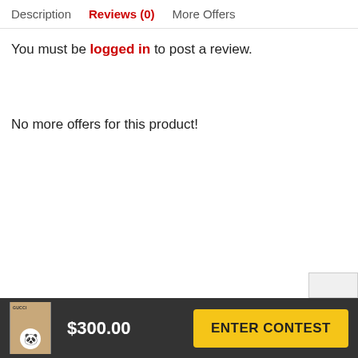Description  Reviews (0)  More Offers
You must be logged in to post a review.
No more offers for this product!
$300.00  ENTER CONTEST